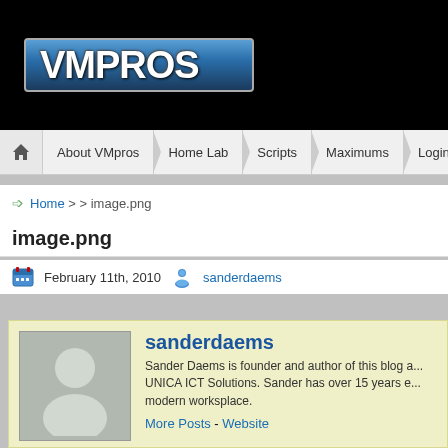[Figure (logo): VMpros website logo — white bold text 'VMPROS' on blue-to-dark gradient background with rounded border]
About VMpros | Home Lab | Scripts | Maximums | Logins
Home > > image.png
image.png
February 11th, 2010   sanderdaems
sanderdaems
Sander Daems is founder and author of this blog a... UNICA ICT Solutions. Sander has over 15 years e... modern worksplace.
More Posts - Website